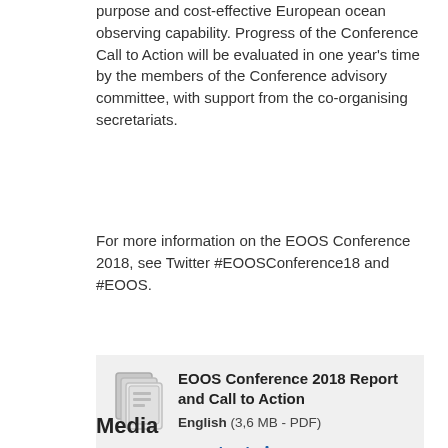purpose and cost-effective European ocean observing capability. Progress of the Conference Call to Action will be evaluated in one year’s time by the members of the Conference advisory committee, with support from the co-organising secretariats.
For more information on the EOOS Conference 2018, see Twitter #EOOSConference18 and #EOOS.
[Figure (other): Download box with document icon, title 'EOOS Conference 2018 Report and Call to Action', file info 'English (3,6 MB - PDF)', and a Download link with icon.]
Media